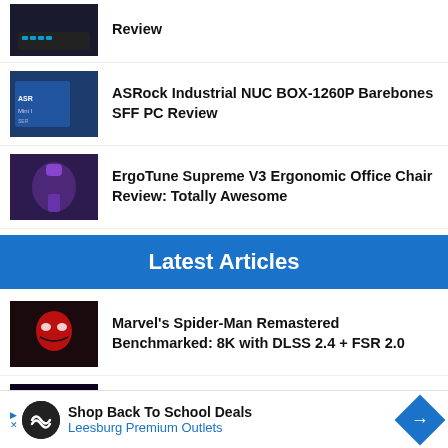Review
ASRock Industrial NUC BOX-1260P Barebones SFF PC Review
ErgoTune Supreme V3 Ergonomic Office Chair Review: Totally Awesome
Latest Articles
Marvel's Spider-Man Remastered Benchmarked: 8K with DLSS 2.4 + FSR 2.0
Phison I/O+ Technology Preview - DirectStorage Gaming Companion
Shop Back To School Deals
Leesburg Premium Outlets